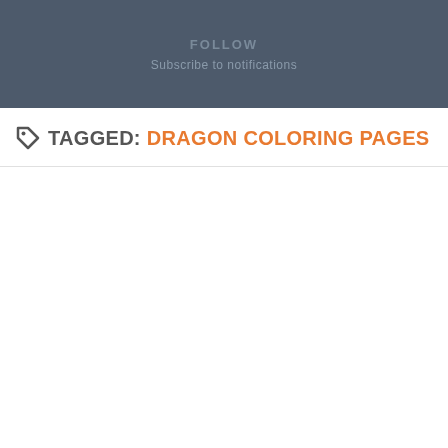FOLLOW
Subscribe to notifications
TAGGED: DRAGON COLORING PAGES